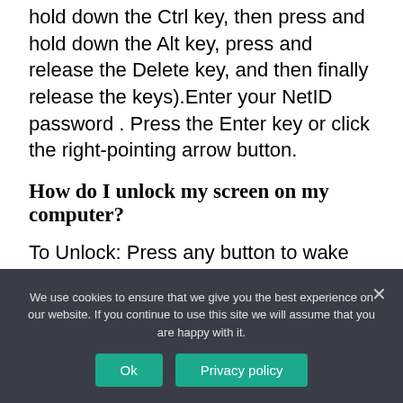hold down the Ctrl key, then press and hold down the Alt key, press and release the Delete key, and then finally release the keys).Enter your NetID password . Press the Enter key or click the right-pointing arrow button.
How do I unlock my screen on my computer?
To Unlock: Press any button to wake the display up, Press Ctrl, Alt and Del at the same time.
How do I unlock my screen with the
We use cookies to ensure that we give you the best experience on our website. If you continue to use this site we will assume that you are happy with it.